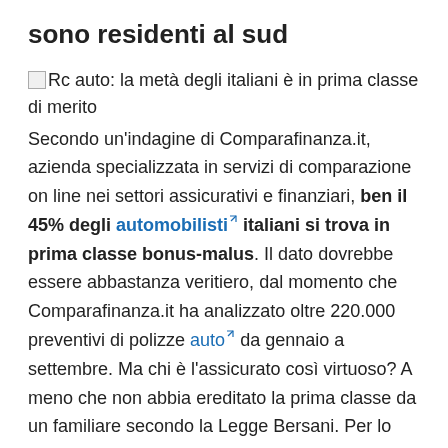sono residenti al sud
[Figure (illustration): Small broken image placeholder icon followed by text: Rc auto: la metà degli italiani è in prima classe di merito]
Secondo un'indagine di Comparafinanza.it, azienda specializzata in servizi di comparazione on line nei settori assicurativi e finanziari, ben il 45% degli automobilisti italiani si trova in prima classe bonus-malus. Il dato dovrebbe essere abbastanza veritiero, dal momento che Comparafinanza.it ha analizzato oltre 220.000 preventivi di polizze auto da gennaio a settembre. Ma chi è l'assicurato così virtuoso? A meno che non abbia ereditato la prima classe da un familiare secondo la Legge Bersani. Per lo più si tratta di uomini, con un'età tra i 45-55 anni, pensionati e, udite udite, residente in provincia di Napoli.